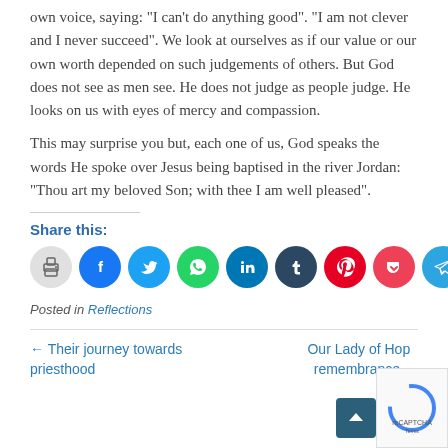own voice, saying: "I can't do anything good". "I am not clever and I never succeed". We look at ourselves as if our value or our own worth depended on such judgements of others. But God does not see as men see. He does not judge as people judge. He looks on us with eyes of mercy and compassion.
This may surprise you but, each one of us, God speaks the words He spoke over Jesus being baptised in the river Jordan: "Thou art my beloved Son; with thee I am well pleased".
Share this:
[Figure (infographic): Row of social share icon buttons: print (grey), Facebook (blue), Twitter (light blue), WhatsApp (green), LinkedIn (dark blue), Tumblr (dark navy), Pinterest (red), Pocket (dark red), Telegram (light blue), Skype (blue)]
Posted in Reflections
← Their journey towards priesthood
Our Lady of Hope remembrance →